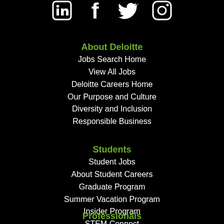[Figure (illustration): Social media icons: LinkedIn, Facebook, Twitter, Instagram — white on black background, partially cropped at top]
About Deloitte
Jobs Search Home
View All Jobs
Deloitte Careers Home
Our Purpose and Culture
Diversity and Inclusion
Responsible Business
Students
Student Jobs
About Student Careers
Graduate Program
Summer Vacation Program
Insider Program
STEM Connect
Professionals